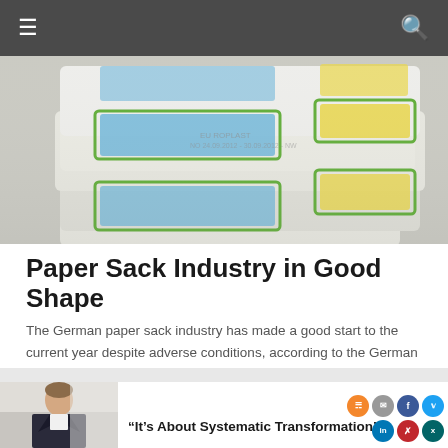Navigation bar with hamburger menu and search icon
[Figure (photo): Stacked white paper sacks/bags with blue and yellow colored label panels, photographed up close]
Paper Sack Industry in Good Shape
The German paper sack industry has made a good start to the current year despite adverse conditions, according to the German Paper Sack Industry Association on the occasion of the publication of its industry report. In a European comparison, it continues to occupy second place.
[Figure (photo): Person in business attire, head and shoulders shot, in a bright office/corridor setting]
“It’s About Systematic Transformation”